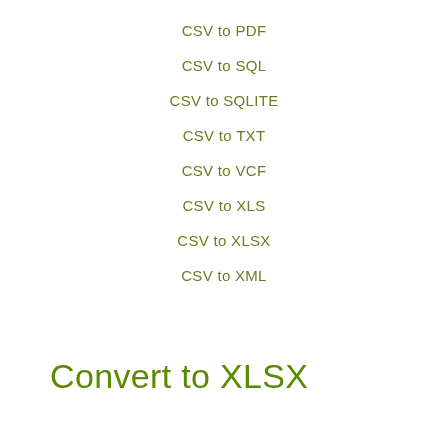CSV to PDF
CSV to SQL
CSV to SQLITE
CSV to TXT
CSV to VCF
CSV to XLS
CSV to XLSX
CSV to XML
Convert to XLSX